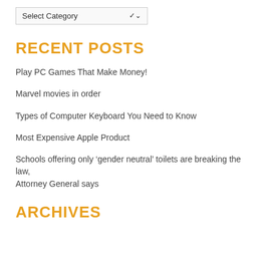[Figure (other): A dropdown select box labeled 'Select Category' with a chevron arrow on the right]
RECENT POSTS
Play PC Games That Make Money!
Marvel movies in order
Types of Computer Keyboard You Need to Know
Most Expensive Apple Product
Schools offering only ‘gender neutral’ toilets are breaking the law, Attorney General says
ARCHIVES